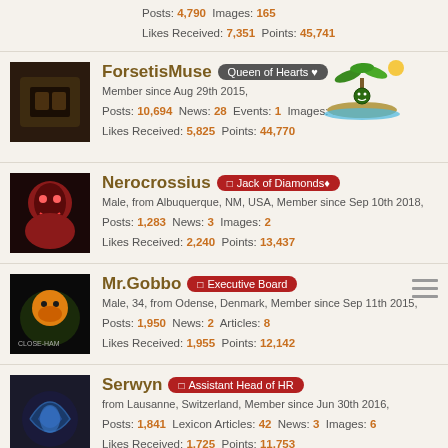Posts: 4,790  Images: 165  Likes Received: 7,351  Points: 45,741
ForsetisMuse — Queen of Hearts — Member since Aug 29th 2015, Posts: 10,694  News: 28  Events: 1  Images: 64  Likes Received: 5,825  Points: 44,770
Nerocrossius — Jack of Diamonds — Male, from Albuquerque, NM, USA, Member since Sep 10th 2018, Posts: 1,283  News: 3  Images: 2  Likes Received: 2,240  Points: 13,437
Mr.Gobbo — Executive Board — Male, 34, from Odense, Denmark, Member since Sep 11th 2015, Posts: 1,950  News: 2  Articles: 8  Likes Received: 1,955  Points: 12,142
Serwyn — Assistant Head of HR — from Lausanne, Switzerland, Member since Jun 30th 2016, Posts: 1,841  Lexicon Articles: 42  News: 3  Images: 6  Likes Received: 1,725  Points: 11,753
MGN(t) - Advisory Board 13
The AvB is drawn from senior staff, and consults for the ExB on project decisions, as well as...